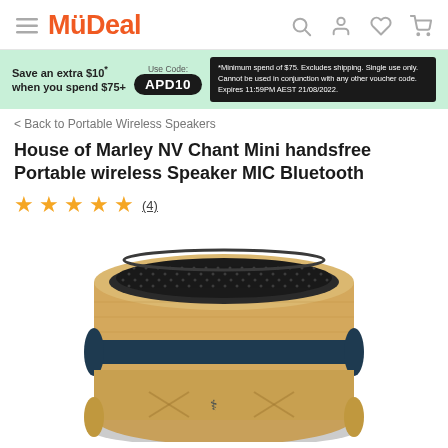MyDeal
Save an extra $10* when you spend $75+  Use Code: APD10  *Minimum spend of $75. Excludes shipping. Single use only. Cannot be used in conjunction with any other voucher code. Expires 11:59PM AEST 21/08/2022.
< Back to Portable Wireless Speakers
House of Marley NV Chant Mini handsfree Portable wireless Speaker MIC Bluetooth
★★★★★ (4)
[Figure (photo): Photo of a House of Marley Chant Mini portable bluetooth speaker, cylindrical shape with bamboo wood exterior and dark navy blue accent band, dark mesh speaker grille on top, Bluetooth symbol visible on the side.]